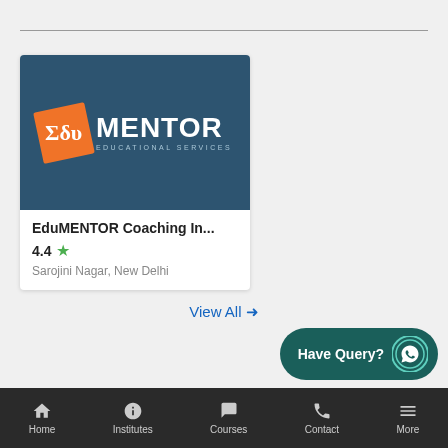[Figure (logo): EduMENTOR Educational Services logo on dark teal background with orange tilted square containing Greek sigma and edu text]
EduMENTOR Coaching In...
4.4 ★
Sarojini Nagar, New Delhi
View All →
[Figure (other): Have Query? WhatsApp button with WhatsApp icon in dark teal rounded rectangle]
Home  Institutes  Courses  Contact  More